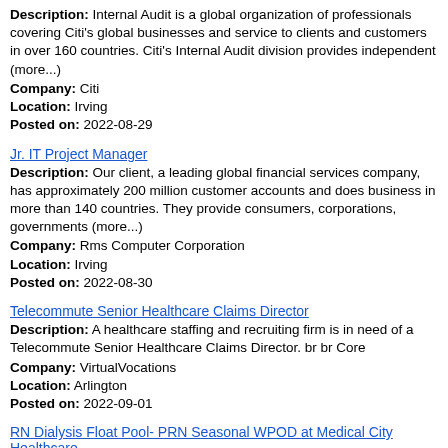Description: Internal Audit is a global organization of professionals covering Citi's global businesses and service to clients and customers in over 160 countries. Citi's Internal Audit division provides independent (more...)
Company: Citi
Location: Irving
Posted on: 2022-08-29
Jr. IT Project Manager
Description: Our client, a leading global financial services company, has approximately 200 million customer accounts and does business in more than 140 countries. They provide consumers, corporations, governments (more...)
Company: Rms Computer Corporation
Location: Irving
Posted on: 2022-08-30
Telecommute Senior Healthcare Claims Director
Description: A healthcare staffing and recruiting firm is in need of a Telecommute Senior Healthcare Claims Director. br br Core
Company: VirtualVocations
Location: Arlington
Posted on: 2022-09-01
RN Dialysis Float Pool- PRN Seasonal WPOD at Medical City Healthcare
Description: Description SHIFT: PRN SCHEDULE: PRN/Per Diem Medical City Healthcare Division Float Pool West Pool...